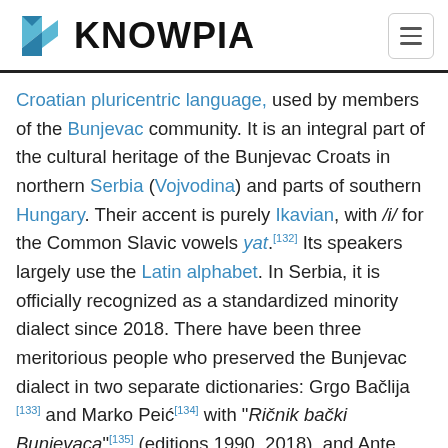KNOWPIA
Croatian pluricentric language, used by members of the Bunjevac community. It is an integral part of the cultural heritage of the Bunjevac Croats in northern Serbia (Vojvodina) and parts of southern Hungary. Their accent is purely Ikavian, with /i/ for the Common Slavic vowels yat.[132] Its speakers largely use the Latin alphabet. In Serbia, it is officially recognized as a standardized minority dialect since 2018. There have been three meritorious people who preserved the Bunjevac dialect in two separate dictionaries: Grgo Bačlija [133] and Marko Peić[134] with "Ričnik bački Bunjevaca"[135] (editions 1990, 2018), and Ante Sekulić[136] with "Rječnik govora bačkih Hrvata" (2005).